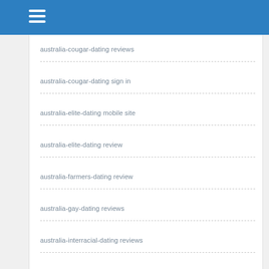australia-cougar-dating reviews
australia-cougar-dating sign in
australia-elite-dating mobile site
australia-elite-dating review
australia-farmers-dating review
australia-gay-dating reviews
australia-interracial-dating reviews